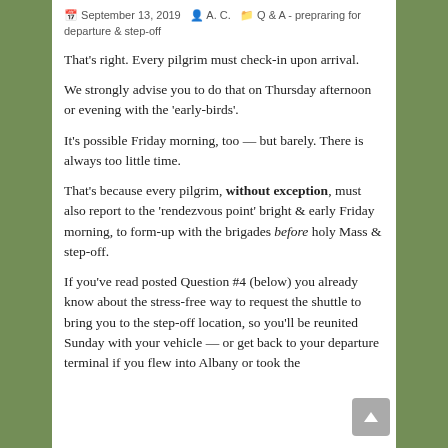September 13, 2019  A. C.  Q & A - prepraring for departure & step-off
That's right. Every pilgrim must check-in upon arrival.
We strongly advise you to do that on Thursday afternoon or evening with the 'early-birds'.
It's possible Friday morning, too — but barely. There is always too little time.
That's because every pilgrim, without exception, must also report to the 'rendezvous point' bright & early Friday morning, to form-up with the brigades before holy Mass & step-off.
If you've read posted Question #4 (below) you already know about the stress-free way to request the shuttle to bring you to the step-off location, so you'll be reunited Sunday with your vehicle — or get back to your departure terminal if you flew into Albany or took the